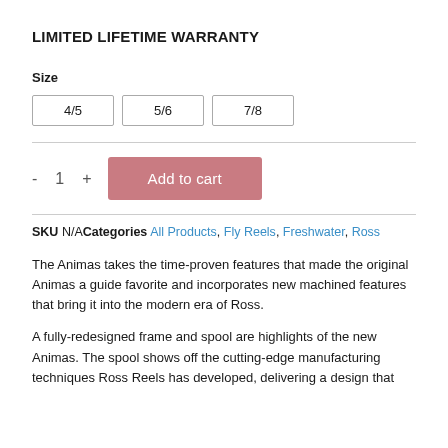LIMITED LIFETIME WARRANTY
Size
4/5   5/6   7/8
- 1 +   Add to cart
SKU N/A Categories All Products, Fly Reels, Freshwater, Ross
The Animas takes the time-proven features that made the original Animas a guide favorite and incorporates new machined features that bring it into the modern era of Ross.
A fully-redesigned frame and spool are highlights of the new Animas. The spool shows off the cutting-edge manufacturing techniques Ross Reels has developed, delivering a design that